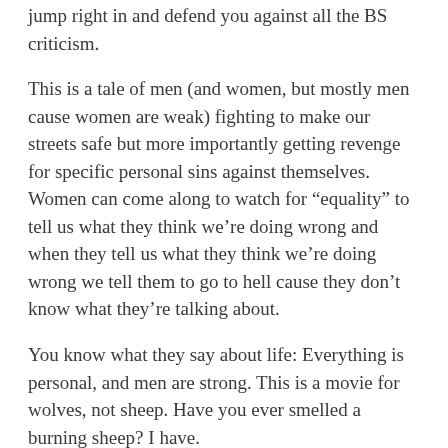jump right in and defend you against all the BS criticism.
This is a tale of men (and women, but mostly men cause women are weak) fighting to make our streets safe but more importantly getting revenge for specific personal sins against themselves. Women can come along to watch for “equality” to tell us what they think we’re doing wrong and when they tell us what they think we’re doing wrong we tell them to go to hell cause they don’t know what they’re talking about.
You know what they say about life: Everything is personal, and men are strong. This is a movie for wolves, not sheep. Have you ever smelled a burning sheep? I have.
This is the best movie of at least the last two centuries. The only issue I have with is the line, “Time to meet God.” That’s dumb because there is no God and also time is a flat circle, but I guess that is what also makes it brilliant.